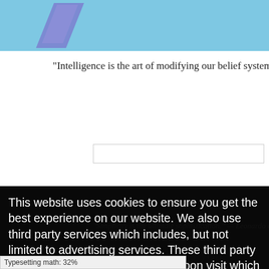[Figure (illustration): Light blue header banner with a purple/blue diagonal chevron/arrow shape on the left side]
"Intelligence is the art of modifying our belief system u...
This website uses cookies to ensure you get the best experience on our website. We also use third party services which includes, but not limited to advertising services. These third party services may also store cookies upon visit which may be used to enhance the services provided by them.  Learn more
Got it!
Typesetting math: 32%